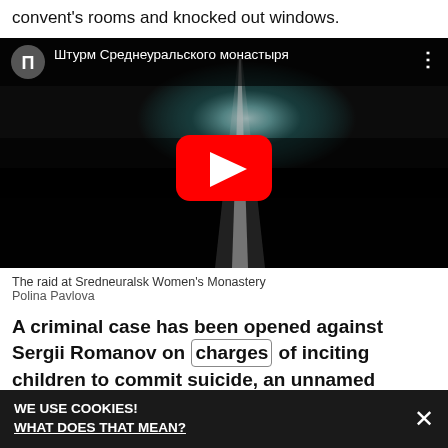convent's rooms and knocked out windows.
[Figure (screenshot): YouTube video thumbnail showing raid at Sredneuralsk Women's Monastery. Title in Russian: Штурм Среднеуральского монастыря. Shows people in dark clothing with bright light beam, YouTube play button overlay.]
The raid at Sredneuralsk Women's Monastery
Polina Pavlova
A criminal case has been opened against Sergii Romanov on charges of inciting children to commit suicide, an unnamed source in law enforcement told the
WE USE COOKIES!
WHAT DOES THAT MEAN?